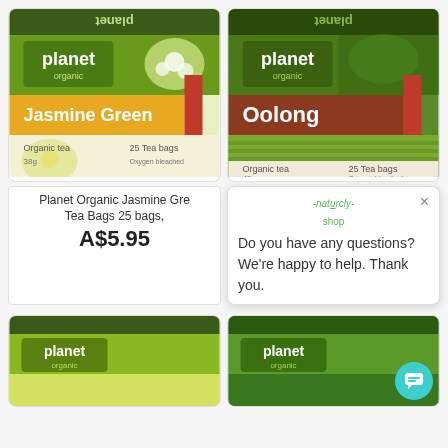[Figure (photo): Planet Organic Jasmine Green tea box product image - yellow/green box with white jasmine flowers, green Planet Organic logo, 25 tea bags]
[Figure (photo): Planet Organic Oolong tea box product image - dark red/terra cotta band with green plant imagery, 25 tea bags]
Planet Organic Jasmine Gre Tea Bags 25 bags,
A$5.95
Do you have any questions? We're happy to help. Thank you.
[Figure (photo): Planet Organic tea box - yellow-green box partially visible at bottom left]
[Figure (photo): Planet Organic tea box - green box partially visible at bottom right with teal chat bubble button overlay]